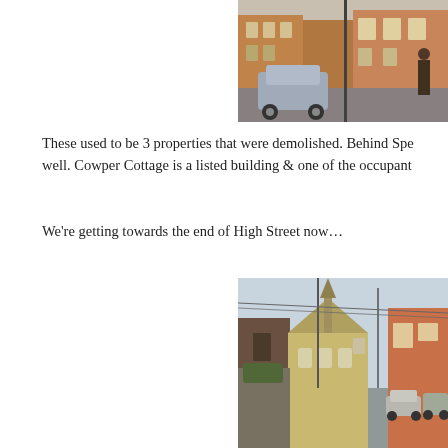[Figure (photo): Street view of brick terraced houses with a parked SUV and a person standing in a doorway]
These used to be 3 properties that were demolished. Behind Spe... well. Cowper Cottage is a listed building & one of the occupant...
We're getting towards the end of High Street now…
[Figure (photo): Street view of High Street showing a church spire, stone buildings, parked cars, and brick walls]